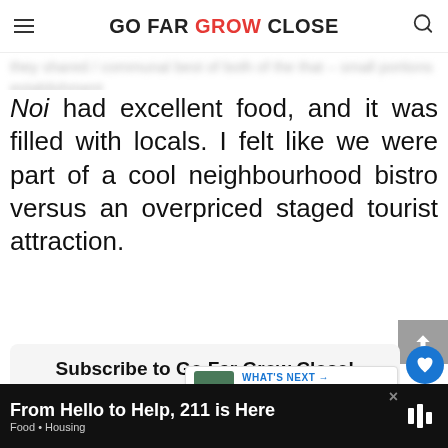GO FAR GROW CLOSE
Noi had excellent food, and it was filled with locals. I felt like we were part of a cool neighbourhood bistro versus an overpriced staged tourist attraction.
Subscribe to Go Far Grow Close!
Get updates on the latest posts and more from Go Far Grow Close straight to your inbox.
WHAT'S NEXT → Slieve League Cliffs And...
From Hello to Help, 211 is Here
Food • Housing